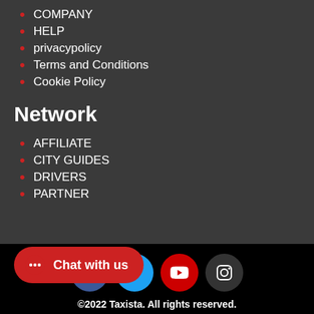COMPANY
HELP
privacypolicy
Terms and Conditions
Cookie Policy
Network
AFFILIATE
CITY GUIDES
DRIVERS
PARTNER
[Figure (infographic): Social media icons: Facebook, Twitter, YouTube, Instagram]
Chat with us
©2022 Taxista. All rights reserved.